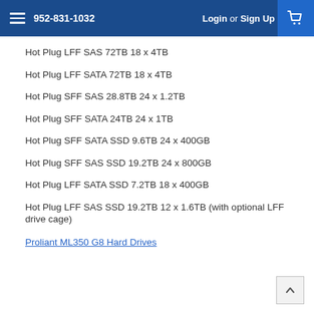952-831-1032  Login or Sign Up
Hot Plug LFF SAS 72TB 18 x 4TB
Hot Plug LFF SATA 72TB 18 x 4TB
Hot Plug SFF SAS 28.8TB 24 x 1.2TB
Hot Plug SFF SATA 24TB 24 x 1TB
Hot Plug SFF SATA SSD 9.6TB 24 x 400GB
Hot Plug SFF SAS SSD 19.2TB 24 x 800GB
Hot Plug LFF SATA SSD 7.2TB 18 x 400GB
Hot Plug LFF SAS SSD 19.2TB 12 x 1.6TB (with optional LFF drive cage)
Proliant ML350 G8 Hard Drives